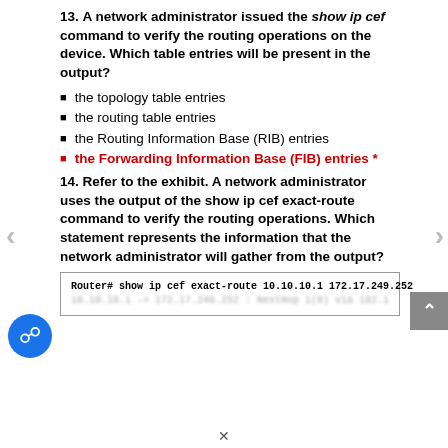13. A network administrator issued the show ip cef command to verify the routing operations on the device. Which table entries will be present in the output?
the topology table entries
the routing table entries
the Routing Information Base (RIB) entries
the Forwarding Information Base (FIB) entries *
14. Refer to the exhibit. A network administrator uses the output of the show ip cef exact-route command to verify the routing operations. Which statement represents the information that the network administrator will gather from the output?
[Figure (screenshot): Router terminal showing command: Router# show ip cef exact-route 10.10.10.1 172.17.249.252 with a partially visible second line of output]